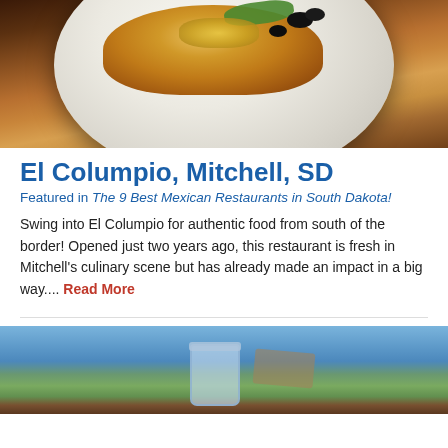[Figure (photo): Photo of a plate of Mexican food (nachos/tex-mex dish) with toppings including black olives and greens on a white plate, on a dark table surface]
El Columpio, Mitchell, SD
Featured in The 9 Best Mexican Restaurants in South Dakota!
Swing into El Columpio for authentic food from south of the border! Opened just two years ago, this restaurant is fresh in Mitchell's culinary scene but has already made an impact in a big way.... Read More
[Figure (photo): Photo of a glass jar with food content against a blue sky background with other items visible]